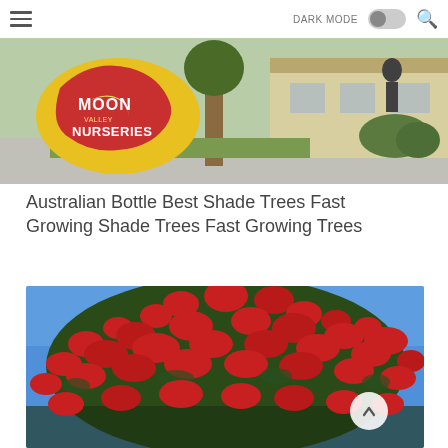DARK MODE [toggle] [search]
[Figure (photo): Nursery storefront with a Moon Nurseries sign (yellow and red logo) on the left, trees and a house in the background]
Australian Bottle Best Shade Trees Fast Growing Shade Trees Fast Growing Trees
[Figure (photo): A large tree with dense red flowering clusters (resembling a pohutukawa or bottlebrush tree) against a bright blue sky]